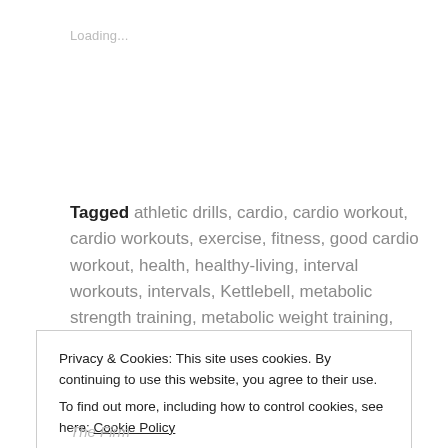Loading...
Tagged athletic drills, cardio, cardio workout, cardio workouts, exercise, fitness, good cardio workout, health, healthy-living, interval workouts, intervals, Kettlebell, metabolic strength training, metabolic weight training, motivational trainer, strength, strength exercises, strength work, strength workout        3 Comments
Privacy & Cookies: This site uses cookies. By continuing to use this website, you agree to their use.
To find out more, including how to control cookies, see here: Cookie Policy
Close and accept
The Firm